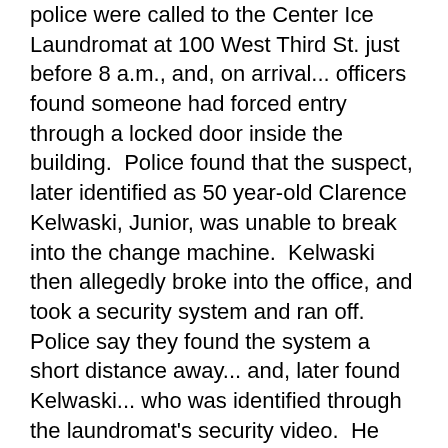police were called to the Center Ice Laundromat at 100 West Third St. just before 8 a.m., and, on arrival... officers found someone had forced entry through a locked door inside the building.  Police found that the suspect, later identified as 50 year-old Clarence Kelwaski, Junior, was unable to break into the change machine.  Kelwaski then allegedly broke into the office, and took a security system and ran off.  Police say they found the system a short distance away... and, later found Kelwaski... who was identified through the laundromat's security video.  He was arrested for third-degree burglary... fourth-degree criminal mischief... and, petty larceny.  Kelwaski was jailed pending arraignment in city court.
East Side Fellowship to hold annual Easter Egg Hunt this Saturday...
The East Side Fellowship is bringing back its annual Easter Egg Hunt this Saturday at 10 a.m. Club